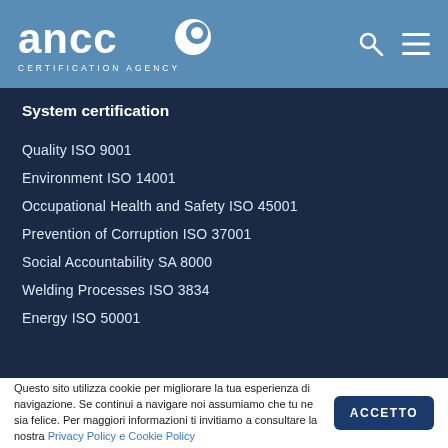ANCO CERTIFICATION AGENCY
System certification
Quality ISO 9001
Environment ISO 14001
Occupational Health and Safety ISO 45001
Prevention of Corruption ISO 37001
Social Accountability SA 8000
Welding Processes ISO 3834
Energy ISO 50001
Questo sito utilizza cookie per migliorare la tua esperienza di navigazione. Se continui a navigare noi assumiamo che tu ne sia felice. Per maggiori informazioni ti invitiamo a consultare la nostra Privacy Policy e Cookie Policy